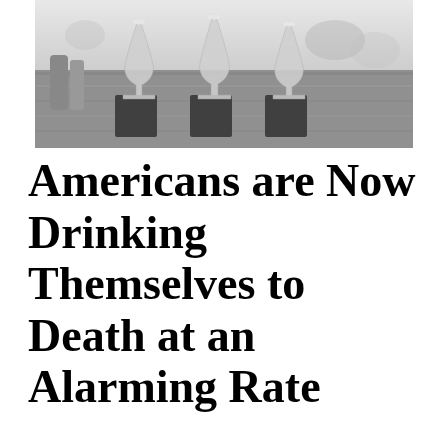[Figure (photo): Black and white photograph of wine glasses on a wooden bar counter]
Americans are Now Drinking Themselves to Death at an Alarming Rate